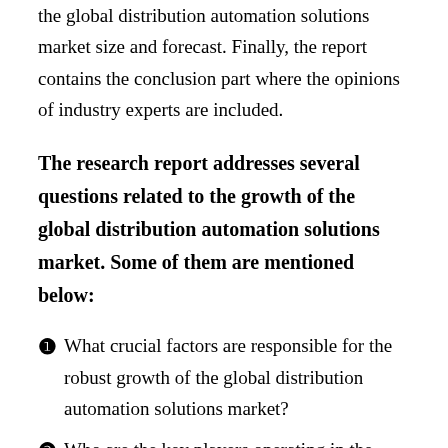the global distribution automation solutions market size and forecast. Finally, the report contains the conclusion part where the opinions of industry experts are included.
The research report addresses several questions related to the growth of the global distribution automation solutions market. Some of them are mentioned below:
❶ What crucial factors are responsible for the robust growth of the global distribution automation solutions market?
❷ Who are the key players operating in the